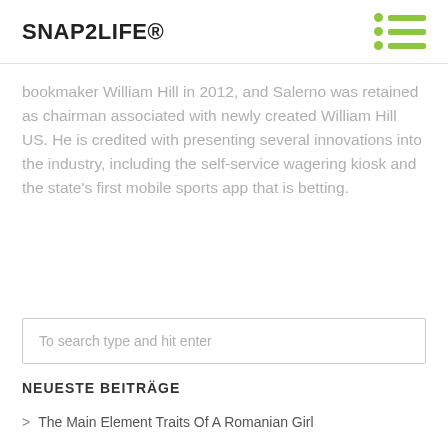SNAP2LIFE®
bookmaker William Hill in 2012, and Salerno was retained as chairman associated with newly created William Hill US. He is credited with presenting several innovations into the industry, including the self-service wagering kiosk and the state's first mobile sports app that is betting.
To search type and hit enter
NEUESTE BEITRÄGE
The Main Element Traits Of A Romanian Girl